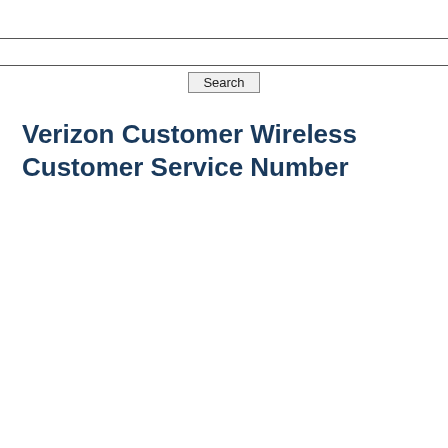[Figure (screenshot): Search bar input field spanning full page width with a single-line text input box]
[Figure (screenshot): Search button centered below the search input field]
Verizon Customer Wireless Customer Service Number